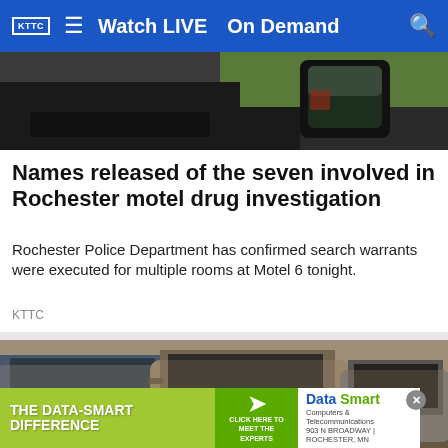KTTC  ☰  Watch LIVE  On Demand  🔍
[Figure (photo): Close-up photo of a car side mirror with green grass in background]
Names released of the seven involved in Rochester motel drug investigation
Rochester Police Department has confirmed search warrants were executed for multiple rooms at Motel 6 tonight.
KTTC
[Figure (photo): Dust-covered parked vehicles in a lot, multiple SUVs and cars covered in dirt]
[Figure (screenshot): Advertisement banner: THE DATA-SMART DIFFERENCE — Data Smart Computers & Telecommunications, 903 N Broadway, Rochester MN. Click here to meet the experts.]